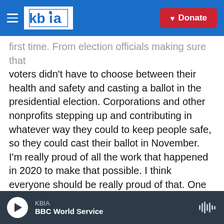KBIA - Donate
first time. From election officials making sure that voters didn't have to choose between their health and safety and casting a ballot in the presidential election. Corporations and other nonprofits stepping up and contributing in whatever way they could to keep people safe, so they could cast their ballot in November. I'm really proud of all the work that happened in 2020 to make that possible. I think everyone should be really proud of that. One of the lessons that we took away from that was, we provided the funds to election departments in the election department that applied. That was verified as legitimate, receive funding from us to administer
KBIA | BBC World Service